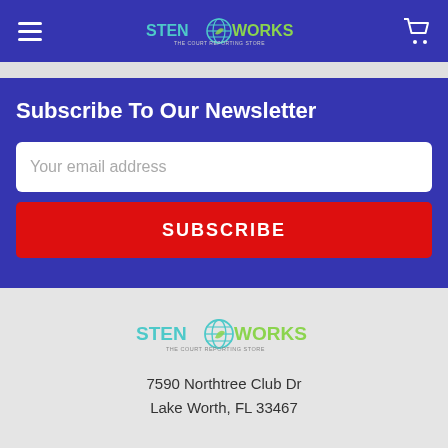[Figure (logo): StenoWorks - The Court Reporting Store navigation bar logo with hamburger menu and cart icon]
Subscribe To Our Newsletter
Your email address
SUBSCRIBE
[Figure (logo): StenoWorks logo in footer]
7590 Northtree Club Dr
Lake Worth, FL 33467